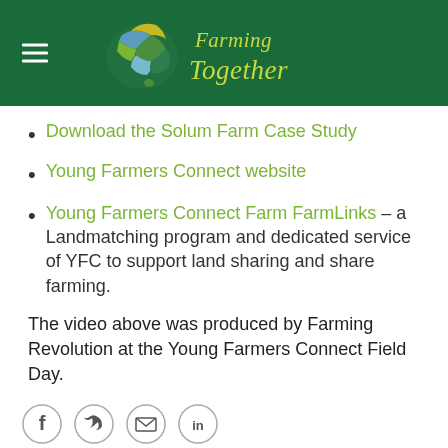[Figure (logo): Farming Together logo with stylized map of Australia in green/blue/yellow and 'Farming Together' text in yellow-green handwritten font on dark green header background]
Download the Solum Farm Case Study
Young Farmers Connect website
Young Farmers Connect Farm FarmLinks – a Landmatching program and dedicated service of YFC to support land sharing and share farming.
The video above was produced by Farming Revolution at the Young Farmers Connect Field Day.
[Figure (illustration): Social media icons: Facebook, Twitter, Email/envelope, LinkedIn]